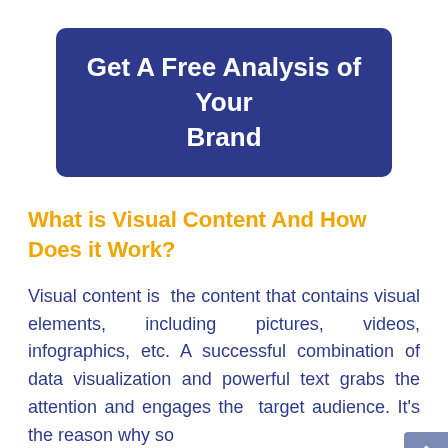Get A Free Analysis of Your Brand
What is Visual Content And How Does it Work?
Visual content is the content that contains visual elements, including pictures, videos, infographics, etc. A successful combination of data visualization and powerful text grabs the attention and engages the target audience. It's the reason why social